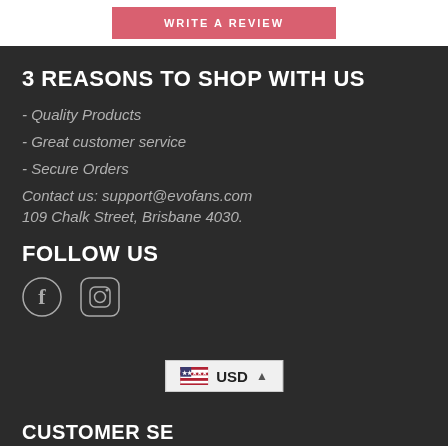WRITE A REVIEW
3 REASONS TO SHOP WITH US
- Quality Products
- Great customer service
- Secure Orders
Contact us: support@evofans.com
109 Chalk Street, Brisbane 4030.
FOLLOW US
[Figure (illustration): Facebook and Instagram social media icons]
[Figure (illustration): USD currency selector with US flag]
CUSTOMER SE...